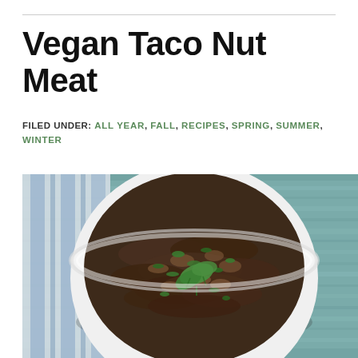Vegan Taco Nut Meat
FILED UNDER: ALL YEAR, FALL, RECIPES, SPRING, SUMMER, WINTER
[Figure (photo): Overhead shot of a white ceramic bowl filled with dark brown vegan taco nut meat crumbles garnished with fresh green cilantro leaves, placed on a blue-grey distressed wood surface with a blue and white striped cloth napkin.]